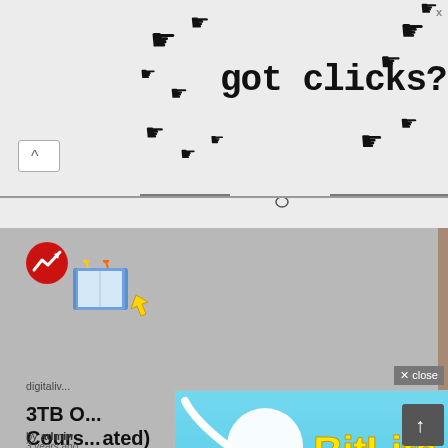[Figure (screenshot): Top banner ad area with cursor/click art icons and 'got clicks?' text in pixel art style. An X close button is in the top right corner.]
[Figure (screenshot): Up/scroll arrow button with caret symbol on left side of page.]
[Figure (screenshot): Red circular trending badge icon with white upward trending arrow, paired with a colorful open book emoji/icon to its right with bookmark tassels and a yellow cursor arrow.]
digitaliv...
3TB O... Cours... ated)
by admin
3 years ago
[Figure (screenshot): BitLife game advertisement popup. Blue background with sperm emoji, 'BitLife' logo in yellow block letters with registered trademark symbol. Text reads 'WHEN REAL LIFE IS QUARANTINED' in bold black. Bottom shows colorful rainbow arc with star-eyed face emoji wearing mask and unicorn emoji. Small X close button and question mark icon in top right. Gray 'x close' button visible at upper right edge of popup.]